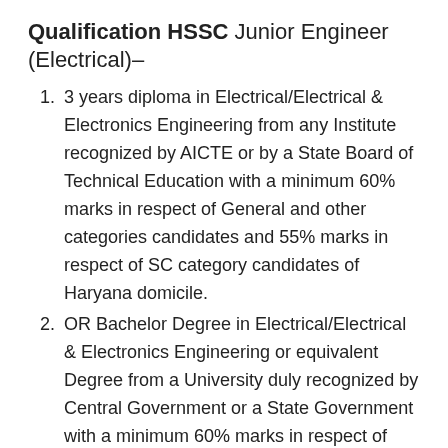Qualification HSSC Junior Engineer (Electrical)–
3 years diploma in Electrical/Electrical & Electronics Engineering from any Institute recognized by AICTE or by a State Board of Technical Education with a minimum 60% marks in respect of General and other categories candidates and 55% marks in respect of SC category candidates of Haryana domicile.
OR Bachelor Degree in Electrical/Electrical & Electronics Engineering or equivalent Degree from a University duly recognized by Central Government or a State Government with a minimum 60% marks in respect of General and other categories and 55% marks in